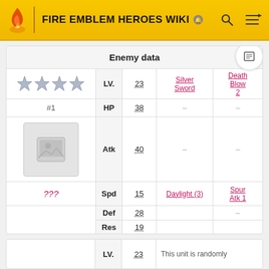FIRE EMBLEM HEROES WIKI
Enemy data
|  | Stat | Value | Skill 1 | Skill 2 |
| --- | --- | --- | --- | --- |
| ★★★★ | LV. | 23 | Silver Sword | Death Blow 2 |
| #1 | HP | 38 | — | — |
| [image] | Atk | 40 | — | — |
| ??? | Spd | 15 | Daylight (3) | Spur Atk 1 |
|  | Def | 28 | — | — |
|  | Res | 19 | — | — |
|  | Stat | Value | Note |
| --- | --- | --- | --- |
|  | LV. | 23 | This unit is randomly |